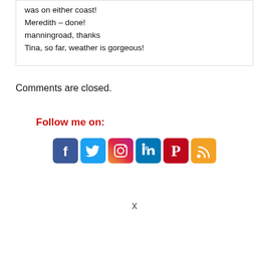was on either coast!
Meredith – done!
manningroad, thanks
Tina, so far, weather is gorgeous!
Comments are closed.
Follow me on:
[Figure (infographic): Social media icons: Facebook (blue), Twitter (light blue), Instagram (gradient), LinkedIn (blue), Pinterest (red), RSS (orange)]
x